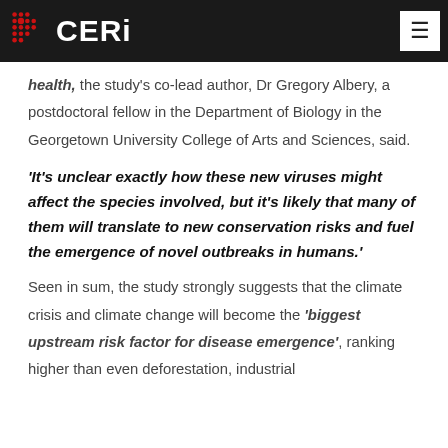CERI
health, the study's co-lead author, Dr Gregory Albery, a postdoctoral fellow in the Department of Biology in the Georgetown University College of Arts and Sciences, said.
'It's unclear exactly how these new viruses might affect the species involved, but it's likely that many of them will translate to new conservation risks and fuel the emergence of novel outbreaks in humans.'
Seen in sum, the study strongly suggests that the climate crisis and climate change will become the 'biggest upstream risk factor for disease emergence', ranking higher than even deforestation, industrial